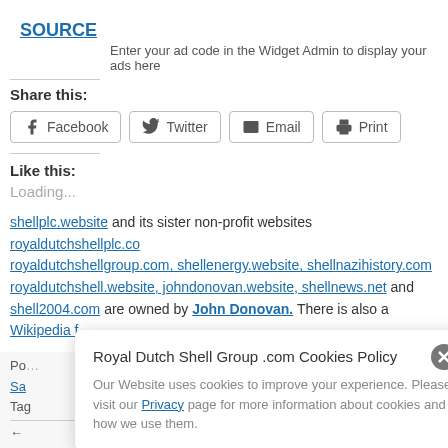SOURCE
Enter your ad code in the Widget Admin to display your ads here
Share this:
Facebook  Twitter  Email  Print
Like this:
Loading...
shellplc.website and its sister non-profit websites royaldutchshellplc.com royaldutchshellgroup.com, shellenergy.website, shellnazihistory.com royaldutchshell.website, johndonovan.website, shellnews.net and shell2004.com are owned by John Donovan. There is also a Wikipedia f
Royal Dutch Shell Group .com Cookies Policy
Our Website uses cookies to improve your experience. Please visit our Privacy page for more information about cookies and how we use them.